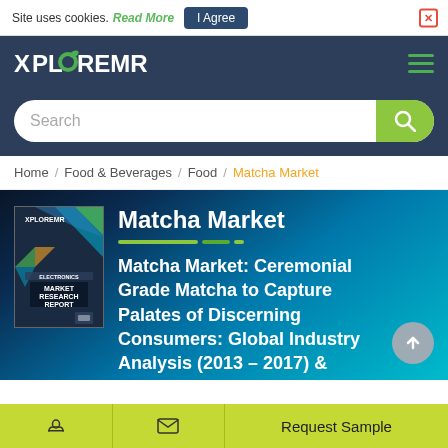Site uses cookies. Read More | I Agree
[Figure (logo): XPLOREMR logo in white and orange on dark navy background with hamburger menu icon]
Search
Home / Food & Beverages / Food / Matcha Market
Matcha Market
Matcha Market: Ceremonial Grade Matcha to Capture Palates of Discerning Consumers: Global Industry Analysis (2013 – 2017) &
Request Sample